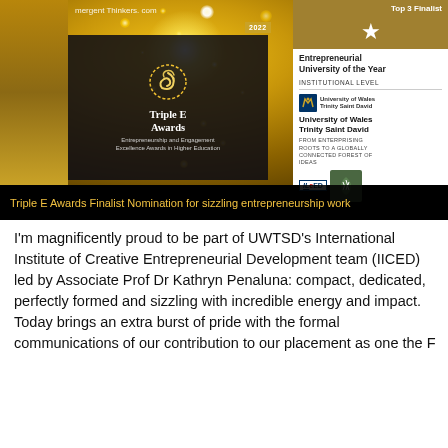[Figure (photo): Triple E Awards 2022 finalist image featuring gold bokeh background, Triple E Awards badge (Entrepreneurship and Engagement Excellence Awards in Higher Education), a 'Top 3 Finalist – Entrepreneurial University of the Year – Institutional Level' badge for University of Wales Trinity Saint David, with IICED and Harmonious logos. Bottom banner reads 'Triple E Awards Finalist Nomination for sizzling entrepreneurship work']
I'm magnificently proud to be part of UWTSD's International Institute of Creative Entrepreneurial Development team (IICED) led by Associate Prof Dr Kathryn Penaluna: compact, dedicated, perfectly formed and sizzling with incredible energy and impact. Today brings an extra burst of pride with the formal communications of our contribution to our placement as one the F...